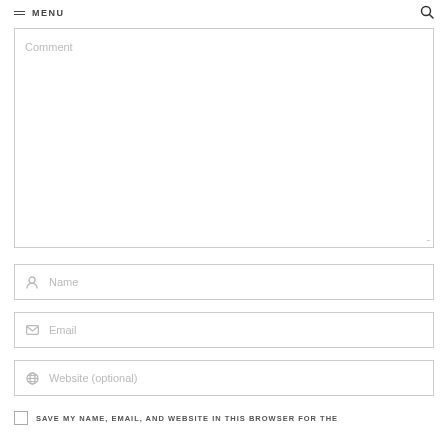MENU
[Figure (screenshot): Comment textarea input field with placeholder text 'Comment' and resize handle]
[Figure (screenshot): Name input field with person icon and placeholder text 'Name']
[Figure (screenshot): Email input field with envelope icon and placeholder text 'Email']
[Figure (screenshot): Website input field with globe icon and placeholder text 'Website (optional)']
SAVE MY NAME, EMAIL, AND WEBSITE IN THIS BROWSER FOR THE